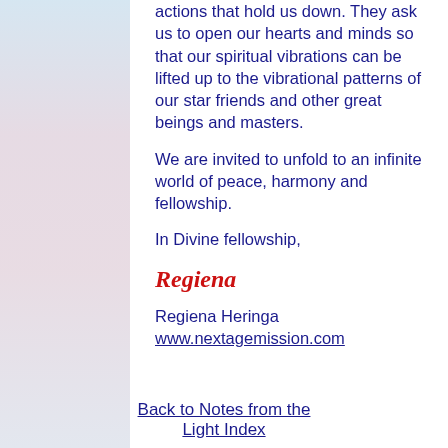actions that hold us down. They ask us to open our hearts and minds so that our spiritual vibrations can be lifted up to the vibrational patterns of our star friends and other great beings and masters.

We are invited to unfold to an infinite world of peace, harmony and fellowship.

In Divine fellowship,
Regiena
Regiena Heringa
www.nextagemission.com
Back to Notes from the Light Index